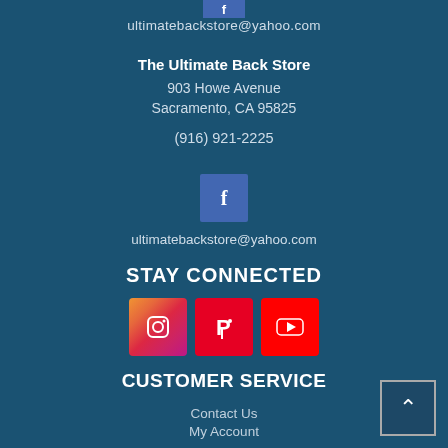[Figure (logo): Facebook icon button (partial, top of page)]
ultimatebackstore@yahoo.com
The Ultimate Back Store
903 Howe Avenue
Sacramento, CA 95825
(916) 921-2225
[Figure (logo): Facebook icon button square]
ultimatebackstore@yahoo.com
STAY CONNECTED
[Figure (logo): Social media icons: Instagram, Pinterest, YouTube]
CUSTOMER SERVICE
Contact Us
My Account
Privacy Policy
Terms of Service
Accessibility